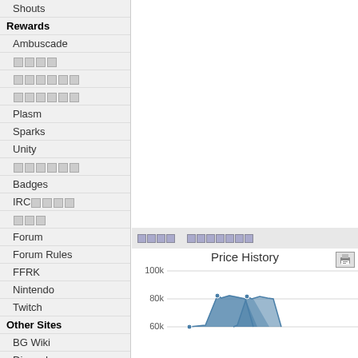Shouts
Rewards
Ambuscade
[garbled]
[garbled]
[garbled]
Plasm
Sparks
Unity
[garbled]
Badges
IRC[garbled]
[garbled]
Forum
Forum Rules
FFRK
Nintendo
Twitch
Other Sites
BG Wiki
Discord
FFXIDB
FFXIVPro
Guildwork
Windower
[Figure (line-chart): Price history line chart showing two sharp peaks near 80k and a lower starting point near 60k]